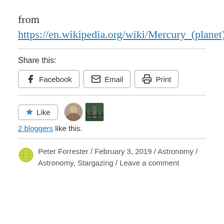from https://en.wikipedia.org/wiki/Mercury_(planet).
Share this:
Facebook Email Print
Like 2 bloggers like this.
Peter Forrester / February 3, 2019 / Astronomy / Astronomy, Stargazing / Leave a comment